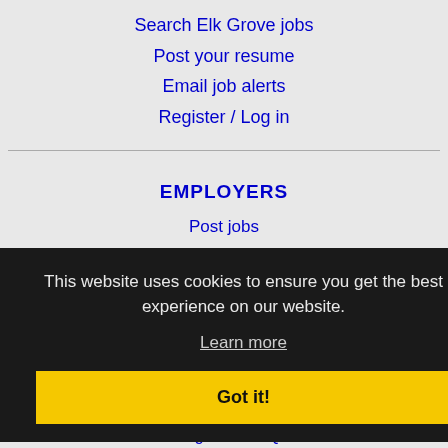Search Elk Grove jobs
Post your resume
Email job alerts
Register / Log in
EMPLOYERS
Post jobs
Search resumes
Post job updates
This website uses cookies to ensure you get the best experience on our website.
Learn more
Got it!
IMMIGRATION SPECIALISTS
Post jobs
Immigration FAQs
Learn more